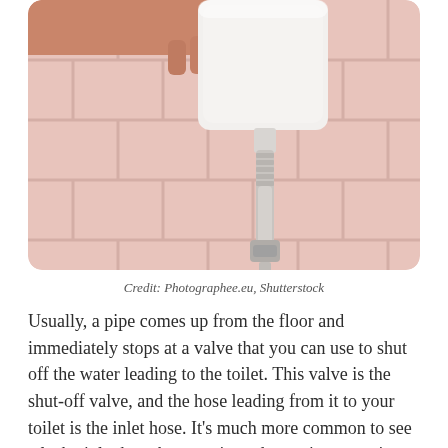[Figure (photo): A person's hand reaching up to touch or adjust a white toilet cistern/tank mounted on a pink tiled bathroom wall. A white flexible inlet hose and shut-off valve are visible below the tank connecting to the wall.]
Credit: Photographee.eu, Shutterstock
Usually, a pipe comes up from the floor and immediately stops at a valve that you can use to shut off the water leading to the toilet. This valve is the shut-off valve, and the hose leading from it to your toilet is the inlet hose. It's much more common to see a leaky inlet hose because it tends to crimp overtime from changing refill